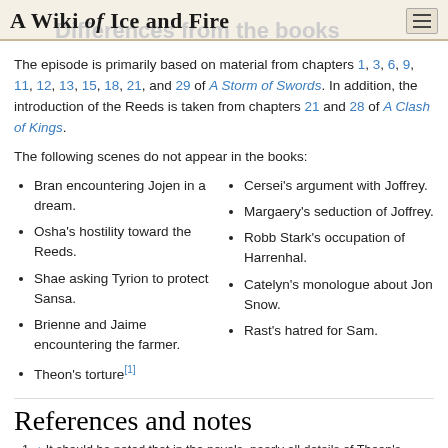A Wiki of Ice and Fire
The episode is primarily based on material from chapters 1, 3, 6, 9, 11, 12, 13, 15, 18, 21, and 29 of A Storm of Swords. In addition, the introduction of the Reeds is taken from chapters 21 and 28 of A Clash of Kings.
The following scenes do not appear in the books:
Bran encountering Jojen in a dream.
Osha's hostility toward the Reeds.
Shae asking Tyrion to protect Sansa.
Brienne and Jaime encountering the farmer.
Theon's torture[1]
Cersei's argument with Joffrey.
Margaery's seduction of Joffrey.
Robb Stark's occupation of Harrenhal.
Catelyn's monologue about Jon Snow.
Rast's hatred for Sam.
References and notes
1. ↑ It should be noted that in the novels, nearly all details of Theon's